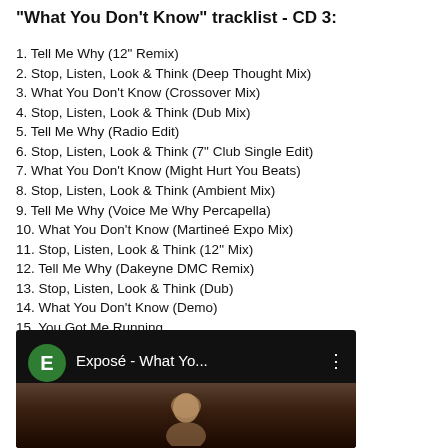"What You Don't Know" tracklist - CD 3:
1. Tell Me Why (12" Remix)
2. Stop, Listen, Look & Think (Deep Thought Mix)
3. What You Don't Know (Crossover Mix)
4. Stop, Listen, Look & Think (Dub Mix)
5. Tell Me Why (Radio Edit)
6. Stop, Listen, Look & Think (7" Club Single Edit)
7. What You Don't Know (Might Hurt You Beats)
8. Stop, Listen, Look & Think (Ambient Mix)
9. Tell Me Why (Voice Me Why Percapella)
10. What You Don't Know (Martineé Expo Mix)
11. Stop, Listen, Look & Think (12" Mix)
12. Tell Me Why (Dakeyne DMC Remix)
13. Stop, Listen, Look & Think (Dub)
14. What You Don't Know (Demo)
15. You Got Me Running
[Figure (screenshot): YouTube/video player screenshot showing a green avatar with letter E, title 'Exposé - What Yo...' with a three-dot menu, and a thumbnail of a person's face against dark background.]